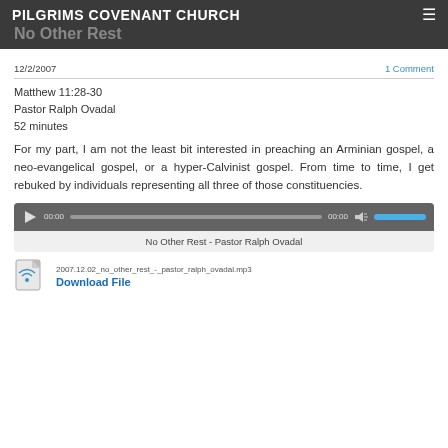PILGRIMS COVENANT CHURCH
No Other Rest
12/2/2007
1 Comment
Matthew 11:28-30
Pastor Ralph Ovadal
52 minutes
For my part, I am not the least bit interested in preaching an Arminian gospel, a neo-evangelical gospel, or a hyper-Calvinist gospel. From time to time, I get rebuked by individuals representing all three of those constituencies.
[Figure (screenshot): Audio player widget showing play button, time display 00:00, progress bar, end time 00:00, volume icon, and blue volume bar. Below the controls is a label: No Other Rest - Pastor Ralph Ovadal]
2007.12.02_no_other_rest_-_pastor_ralph_ovadal.mp3
Download File